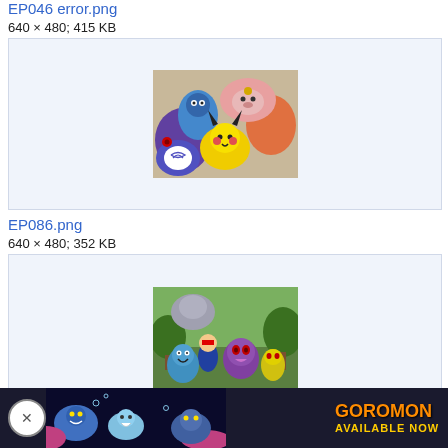EP046 error.png
640 × 480; 415 KB
[Figure (photo): Thumbnail image of Pokemon characters including Pikachu, Meowth, Poliwrath and others grouped together, anime style]
EP086.png
640 × 480; 352 KB
[Figure (photo): Thumbnail image of Pokemon characters including Ash and several Pokemon in a forest setting]
EP201 error.png
[Figure (photo): Coromon advertisement banner at the bottom: Available Now, showing underwater Pokemon-like creatures]